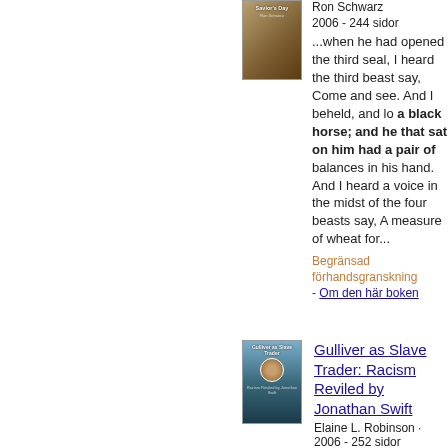[Figure (illustration): Book cover for Savior's Day by Ron Schwarz]
Ron Schwarz
2006 - 244 sidor
...when he had opened the third seal, I heard the third beast say, Come and see. And I beheld, and lo a black horse; and he that sat on him had a pair of balances in his hand. And I heard a voice in the midst of the four beasts say, A measure of wheat for...
Begränsad förhandsgranskning - Om den här boken
[Figure (illustration): Book cover for Gulliver as Slave Trader: Racism Reviled by Jonathan Swift by Elaine L. Robinson]
Gulliver as Slave Trader: Racism Reviled by Jonathan Swift
Elaine L. Robinson · 2006 - 252 sidor
...earth, and that